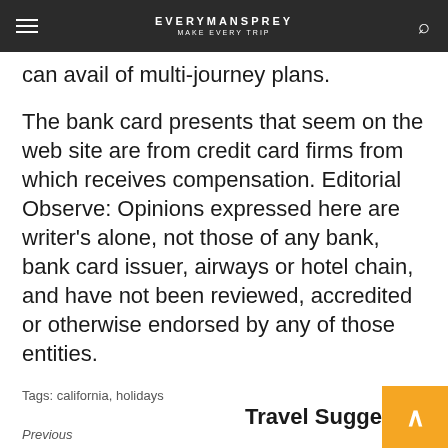EVERYMANSPREY
Enterprises travelers who go overseas frequently can avail of multi-journey plans.
The bank card presents that seem on the web site are from credit card firms from which receives compensation. Editorial Observe: Opinions expressed here are writer’s alone, not those of any bank, bank card issuer, airways or hotel chain, and have not been reviewed, accredited or otherwise endorsed by any of those entities.
Tags: california, holidays
Previous
Reader’s Digest
Travel Suggestions